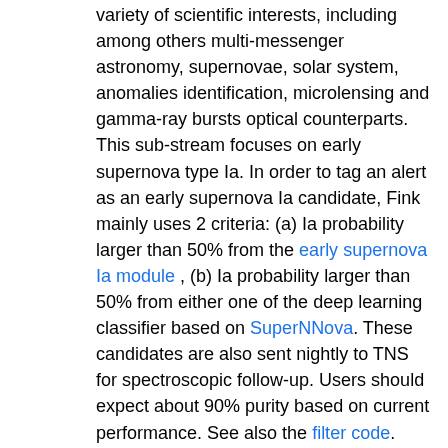variety of scientific interests, including among others multi-messenger astronomy, supernovae, solar system, anomalies identification, microlensing and gamma-ray bursts optical counterparts. This sub-stream focuses on early supernova type Ia. In order to tag an alert as an early supernova Ia candidate, Fink mainly uses 2 criteria: (a) Ia probability larger than 50% from the early supernova Ia module , (b) Ia probability larger than 50% from either one of the deep learning classifier based on SuperNNova. These candidates are also sent nightly to TNS for spectroscopic follow-up. Users should expect about 90% purity based on current performance. See also the filter code. Reproduced with permission from the Fink Community Broker.
responsible user: Roy Williams
test
Testing
responsible user: Roy Williams